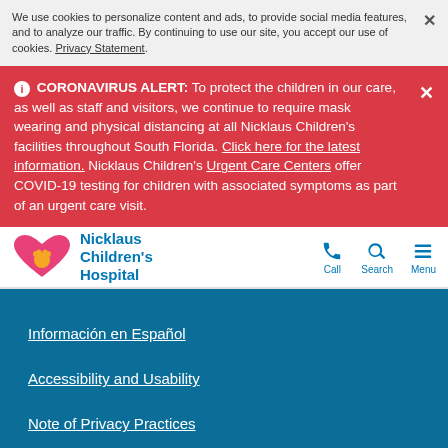We use cookies to personalize content and ads, to provide social media features, and to analyze our traffic. By continuing to use our site, you accept our use of cookies. Privacy Statement.
ⓘ CORONAVIRUS ALERT: To protect the children in our care, as well as staff and visitors, we continue to require mask wearing and physical distancing at all Nicklaus Children's facilities throughout South Florida. Click here for the latest information. Nicklaus Children's Urgent Care Centers offer COVID-19 testing for children with associated symptoms as part of an urgent care visit.
[Figure (logo): Nicklaus Children's Hospital logo with pink heart and bear icon and blue text]
Información en Español
Accessibility and Usability
Note of Privacy Practices
Web Site Information Disclaimer
© 2022 Nicklaus Children's Hospital. All Rights Reserved.